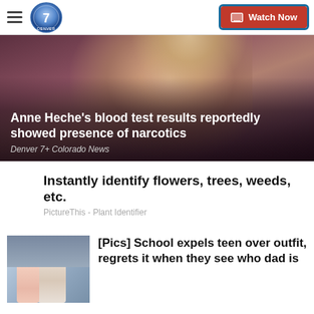Denver 7 | Watch Now
[Figure (photo): Hero image of Anne Heche, blonde woman, with overlaid headline text. Dark maroon/purple background. Headline: Anne Heche's blood test results reportedly showed presence of narcotics. Source: Denver 7+ Colorado News]
Anne Heche's blood test results reportedly showed presence of narcotics
Denver 7+ Colorado News
Instantly identify flowers, trees, weeds, etc.
PictureThis - Plant Identifier
[Figure (photo): Thumbnail of a teenage girl and a man (father and daughter) standing together indoors]
[Pics] School expels teen over outfit, regrets it when they see who dad is